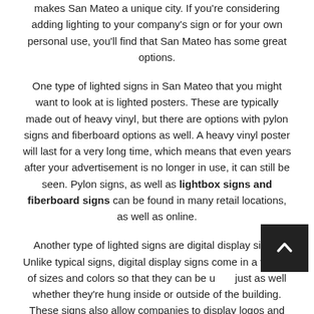makes San Mateo a unique city. If you're considering adding lighting to your company's sign or for your own personal use, you'll find that San Mateo has some great options.
One type of lighted signs in San Mateo that you might want to look at is lighted posters. These are typically made out of heavy vinyl, but there are options with pylon signs and fiberboard options as well. A heavy vinyl poster will last for a very long time, which means that even years after your advertisement is no longer in use, it can still be seen. Pylon signs, as well as lightbox signs and fiberboard signs can be found in many retail locations, as well as online.
Another type of lighted signs are digital display signs. Unlike typical signs, digital display signs come in a variety of sizes and colors so that they can be used just as well whether they're hung inside or outside of the building. These signs also allow companies to display logos and messages on a larger scale than they would with a sign hung inside of their building.